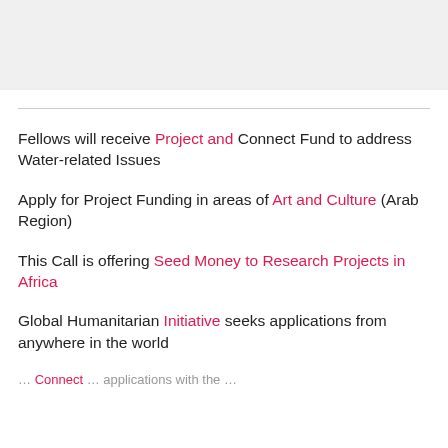[Figure (other): Gray rectangular placeholder/image area at the top of the page]
Fellows will receive Project and Connect Fund to address Water-related Issues
Apply for Project Funding in areas of Art and Culture (Arab Region)
This Call is offering Seed Money to Research Projects in Africa
Global Humanitarian Initiative seeks applications from anywhere in the world
… connects … (partially visible)